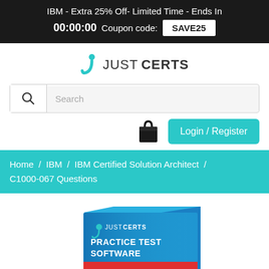IBM - Extra 25% Off- Limited Time - Ends In 00:00:00 Coupon code: SAVE25
[Figure (logo): JustCerts logo with teal J icon and text JUST CERTS]
Search
[Figure (illustration): Shopping cart/bag icon and Login/Register button]
Home / IBM / IBM Certified Solution Architect / C1000-067 Questions
[Figure (photo): JustCerts Practice Test Software product box with blue gradient design, showing JUST CERTS logo, PRACTICE TEST SOFTWARE text, and Test Software label on side]